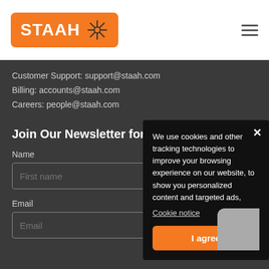[Figure (logo): STAAH logo with orange background and network/asterisk icon]
Customer Support: support@staah.com
Billing: accounts@staah.com
Careers: people@staah.com
Join Our Newsletter for W
Name
First name
Email
Email
We use cookies and other tracking technologies to improve your browsing experience on our website, to show you personalized content and targeted ads,
Cookie notice
I agree